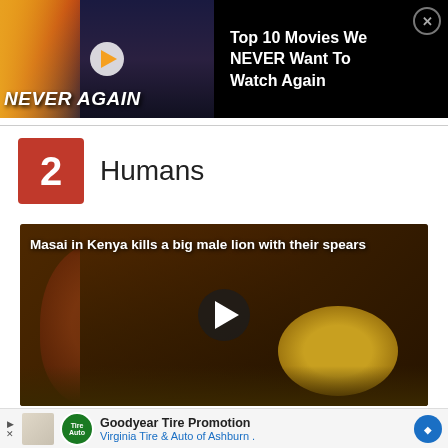[Figure (screenshot): Top ad banner: video thumbnail showing 'NEVER AGAIN' text with woman and Batman/Superman imagery, alongside text 'Top 10 Movies We NEVER Want To Watch Again' with close button]
2  Humans
[Figure (screenshot): Video thumbnail: Masai warrior in red clothing fighting a male lion with spears in Kenya savanna. Play button overlay visible. Caption reads: Masai in Kenya kills a big male lion with their spears]
[Figure (screenshot): Bottom advertisement: Goodyear Tire Promotion – Virginia Tire & Auto of Ashburn, with Goodyear logo, navigation arrows, and blue direction arrow icon]